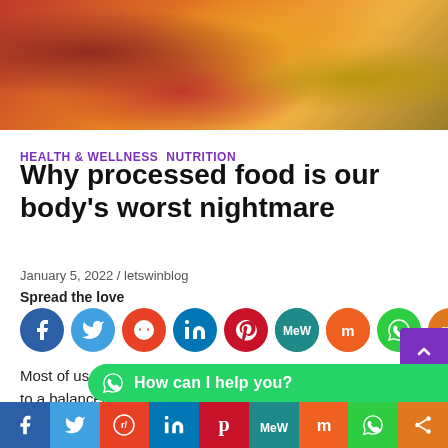[Figure (photo): Close-up photo of processed food — appears to be a loaded hot dog or sandwich with toppings including tomatoes, peppers, and sauce on a wooden surface]
HEALTH & WELLNESS  NUTRITION
Why processed food is our body's worst nightmare
January 5, 2022 / letswinblog
Spread the love
[Figure (infographic): Row of social media sharing icons: Facebook, Twitter, Reddit, LinkedIn, Pinterest, MeWe, Mix, WhatsApp, Share]
Most of us know that sprinkled pop tars aren't the key to a balanced breakfast, but what about the lesser-known, innocent-looking suspects behind the shiny-looking bags in the bre
[Figure (infographic): Bottom social media sharing bar with icons for Facebook, Twitter, Reddit, LinkedIn, Pinterest, MeWe, Mix, WhatsApp, Share]
How can I help you?